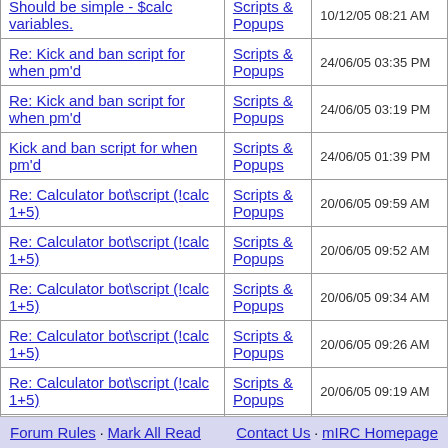| Topic | Forum | Date |
| --- | --- | --- |
| Should be simple - $calc variables. | Scripts & Popups | 10/12/05 08:21 AM |
| Re: Kick and ban script for when pm'd | Scripts & Popups | 24/06/05 03:35 PM |
| Re: Kick and ban script for when pm'd | Scripts & Popups | 24/06/05 03:19 PM |
| Kick and ban script for when pm'd | Scripts & Popups | 24/06/05 01:39 PM |
| Re: Calculator bot\script (!calc 1+5) | Scripts & Popups | 20/06/05 09:59 AM |
| Re: Calculator bot\script (!calc 1+5) | Scripts & Popups | 20/06/05 09:52 AM |
| Re: Calculator bot\script (!calc 1+5) | Scripts & Popups | 20/06/05 09:34 AM |
| Re: Calculator bot\script (!calc 1+5) | Scripts & Popups | 20/06/05 09:26 AM |
| Re: Calculator bot\script (!calc 1+5) | Scripts & Popups | 20/06/05 09:19 AM |
| Re: Calculator bot\script (!calc 1+5) | Scripts & Popups | 20/06/05 09:18 AM |
| Calculator bot\script (!calc 1+5) | Scripts & Popups | 20/06/05 07:01 AM |
Forum Rules · Mark All Read    Contact Us · mIRC Homepage